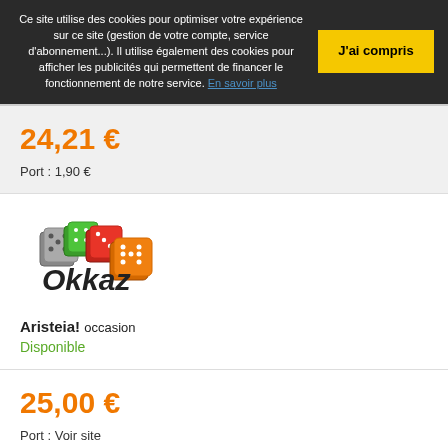Ce site utilise des cookies pour optimiser votre expérience sur ce site (gestion de votre compte, service d'abonnement...). Il utilise également des cookies pour afficher les publicités qui permettent de financer le fonctionnement de notre service. En savoir plus
J'ai compris
24,21 €
Port : 1,90 €
[Figure (logo): Okkaz logo with dice]
Aristeia! occasion
Disponible
25,00 €
Port : Voir site
[Figure (logo): UltraJeux logo]